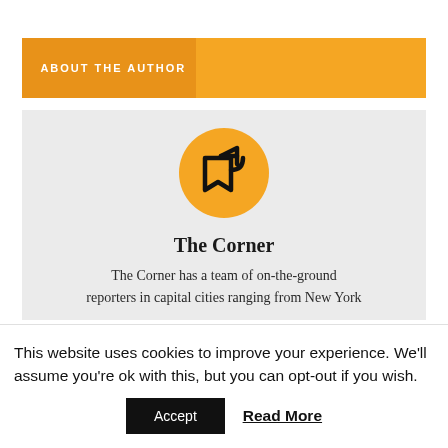ABOUT THE AUTHOR
[Figure (logo): Orange circular icon with a bookmark and share/forward arrow symbol inside, on a light grey background]
The Corner
The Corner has a team of on-the-ground reporters in capital cities ranging from New York
This website uses cookies to improve your experience. We'll assume you're ok with this, but you can opt-out if you wish.
Accept   Read More